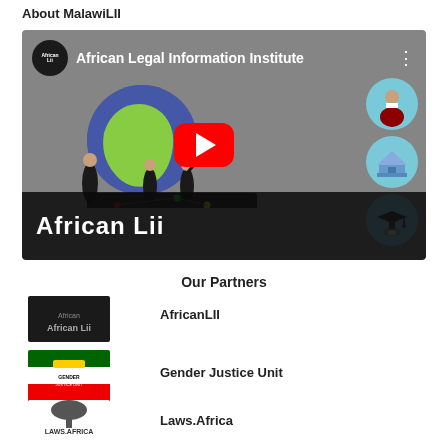About MalawiLII
[Figure (screenshot): YouTube video thumbnail for African Legal Information Institute (African LII) showing animated figures standing on a globe, with a red YouTube play button in center, right-side circular icons of a judge, courthouse, and graduation cap, and a dark bottom banner with 'African Lii' branding]
Our Partners
AfricanLII
Gender Justice Unit
Laws.Africa